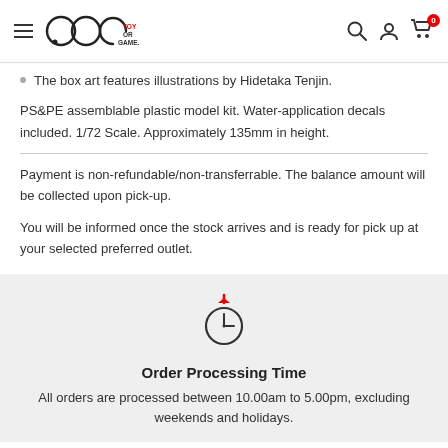TOY OR GAME — navigation bar with logo, search, account, cart
The box art features illustrations by Hidetaka Tenjin.
PS&PE assemblable plastic model kit. Water-application decals included. 1/72 Scale. Approximately 135mm in height.
Payment is non-refundable/non-transferrable. The balance amount will be collected upon pick-up.
You will be informed once the stock arrives and is ready for pick up at your selected preferred outlet.
[Figure (illustration): Clock/timer icon with a red arrow on top indicating order processing time]
Order Processing Time
All orders are processed between 10.00am to 5.00pm, excluding weekends and holidays.